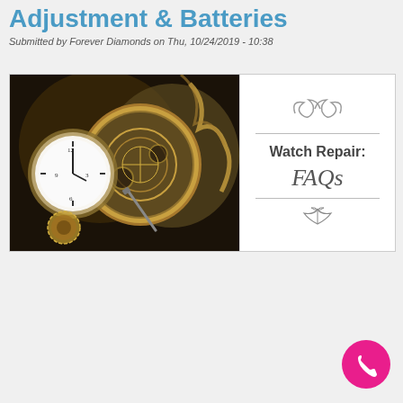Adjustment & Batteries
Submitted by Forever Diamonds on Thu, 10/24/2019 - 10:38
[Figure (photo): A composite image showing close-up of vintage pocket watches with exposed mechanisms and gears on the left, and a decorative panel on the right reading 'Watch Repair: FAQs' with ornamental flourishes and dividers.]
[Figure (other): Pink circular phone/call button icon in the bottom right corner.]